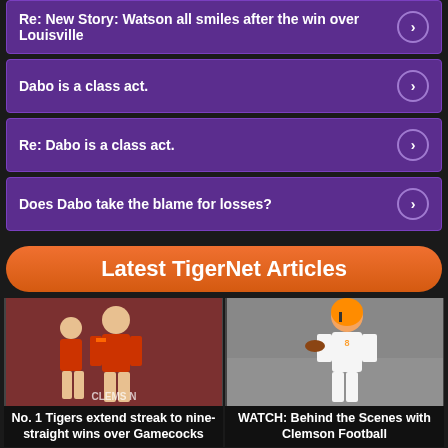Re: New Story: Watson all smiles after the win over Louisville
Dabo is a class act.
Re: Dabo is a class act.
Does Dabo take the blame for losses?
Latest TigerNet Articles
[Figure (photo): Soccer player in Clemson orange uniform celebrating]
No. 1 Tigers extend streak to nine-straight wins over Gamecocks
[Figure (photo): Clemson football player running in practice uniform with helmet]
WATCH: Behind the Scenes with Clemson Football
[Figure (photo): Clemson coach in orange hat with players on field during practice]
Swinney on playoff...
[Figure (photo): Dabo Swinney in Clemson cap speaking, orange background]
]WATCH: Dabo Swinney talks...